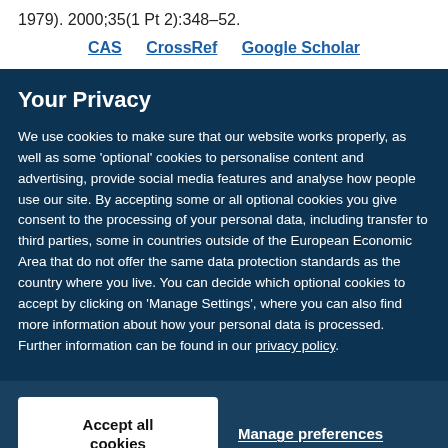1979). 2000;35(1 Pt 2):348–52.
CAS   CrossRef   Google Scholar
Your Privacy
We use cookies to make sure that our website works properly, as well as some 'optional' cookies to personalise content and advertising, provide social media features and analyse how people use our site. By accepting some or all optional cookies you give consent to the processing of your personal data, including transfer to third parties, some in countries outside of the European Economic Area that do not offer the same data protection standards as the country where you live. You can decide which optional cookies to accept by clicking on 'Manage Settings', where you can also find more information about how your personal data is processed. Further information can be found in our privacy policy.
Accept all cookies
Manage preferences